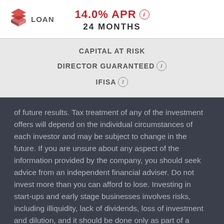[Figure (logo): Crowd2Fund stacked boxes logo icon in red/coral color]
14.0% APR ⓘ
24 MONTHS
CAPITAL AT RISK
DIRECTOR GUARANTEED ⓘ
IFISA ⓘ
of future results. Tax treatment of any of the investment offers will depend on the individual circumstances of each investor and may be subject to change in the future. If you are unsure about any aspect of the information provided by the company, you should seek advice from an independent financial adviser. Do not invest more than you can afford to lose. Investing in start-ups and early stage businesses involves risks, including illiquidity, lack of dividends, loss of investment and dilution, and it should be done only as part of a diversified portfolio. Investing in start-ups may expose the individual concerned to a significant risk of losing all of the money or other assets invested. Peer-to-business lending through Crowd2Fund